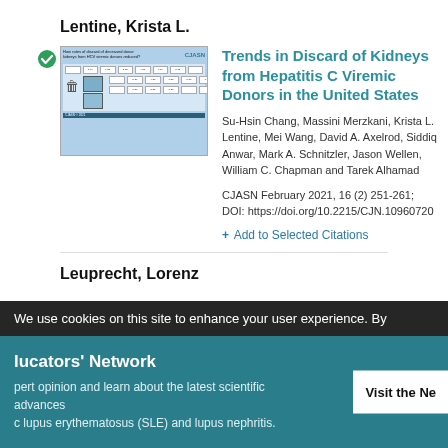Lentine, Krista L.
[Figure (screenshot): Thumbnail image of a CJASN journal article showing a table with data about kidney discard rates from HCV viremic donors]
Trends in Discard of Kidneys from Hepatitis C Viremic Donors in the United States
Su-Hsin Chang, Massini Merzkani, Krista L. Lentine, Mei Wang, David A. Axelrod, Siddiq Anwar, Mark A. Schnitzler, Jason Wellen, William C. Chapman and Tarek Alhamad
CJASN February 2021, 16 (2) 251-261; DOI: https://doi.org/10.2215/CJN.10960720
+ Add to Selected Citations
Leuprecht, Lorenz
We use cookies on this site to enhance your user experience. By
lucators' Network
pert opinion and learn about the latest scientific advances c lupus erythematosus (SLE) and lupus nephritis.
Visit the Ne